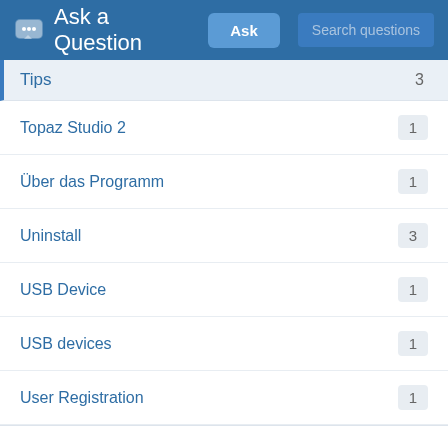Ask a Question
Tips  3
Topaz Studio 2  1
Über das Programm  1
Uninstall  3
USB Device  1
USB devices  1
User Registration  1
Haven't found the solution you were lookin